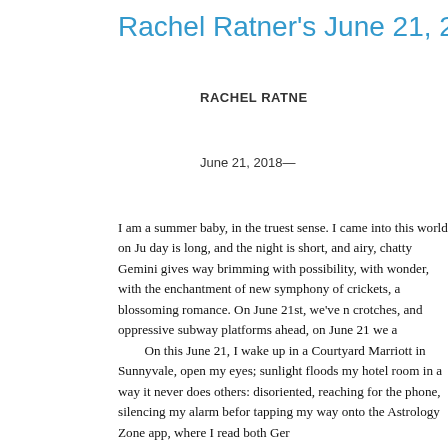Rachel Ratner's June 21, 2018
RACHEL RATNE
June 21, 2018—
I am a summer baby, in the truest sense. I came into this world on Ju day is long, and the night is short, and airy, chatty Gemini gives way brimming with possibility, with wonder, with the enchantment of new symphony of crickets, a blossoming romance. On June 21st, we've n crotches, and oppressive subway platforms ahead, on June 21 we a

On this June 21, I wake up in a Courtyard Marriott in Sunnyvale, open my eyes; sunlight floods my hotel room in a way it never does others: disoriented, reaching for the phone, silencing my alarm befor tapping my way onto the Astrology Zone app, where I read both Ger

As a June 21 baby, I sit on a zodiac cusp—neither and both. Alwa first identity crisis (there have been a few) was deciding if I was a Ge emotion? I couldn't decide, so usually, I read both horoscopes and a devastating, depending on my mood. At some point, I learned that a Cusp of Magic. One astrologer said this cusp, and those of us born approach new experiences with a childlike wonder, when the world i

I am nothing if not enamoured with the horizon. This is both a fan I am). I approach my work, and each new event with an anything-is- until it's time to put all those ideas in a spreadsheet and execute the